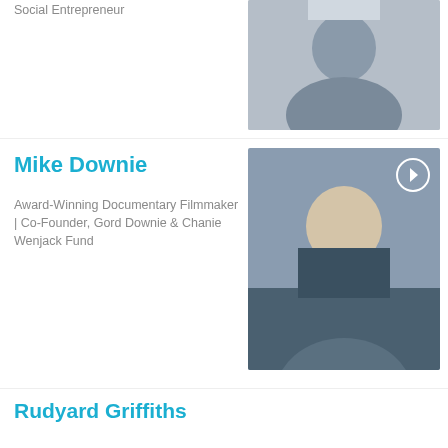Social Entrepreneur
[Figure (photo): Partial photo of a person (top entry, cropped)]
Mike Downie
Award-Winning Documentary Filmmaker | Co-Founder, Gord Downie & Chanie Wenjack Fund
[Figure (photo): Portrait photo of Mike Downie, a man with glasses and medium-length hair]
Rudyard Griffiths
Co-Founder, Chair, and Moderator of the Munk Debates
[Figure (photo): Portrait photo of Rudyard Griffiths, a man in a suit speaking]
Chantal Hébert
Political Raconteur | Columnist
[Figure (photo): Partial portrait photo of Chantal Hébert (bottom entry, cropped)]